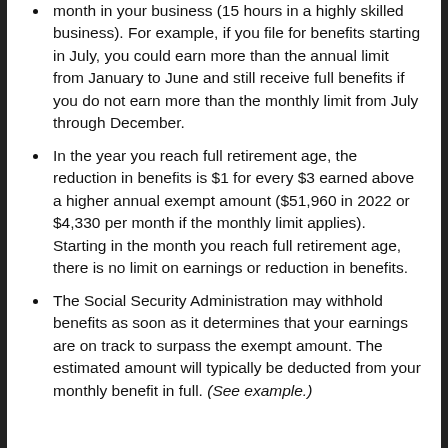month in your business (15 hours in a highly skilled business). For example, if you file for benefits starting in July, you could earn more than the annual limit from January to June and still receive full benefits if you do not earn more than the monthly limit from July through December.
In the year you reach full retirement age, the reduction in benefits is $1 for every $3 earned above a higher annual exempt amount ($51,960 in 2022 or $4,330 per month if the monthly limit applies). Starting in the month you reach full retirement age, there is no limit on earnings or reduction in benefits.
The Social Security Administration may withhold benefits as soon as it determines that your earnings are on track to surpass the exempt amount. The estimated amount will typically be deducted from your monthly benefit in full. (See example.)